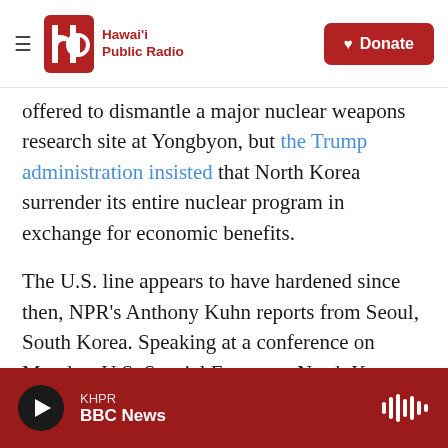Hawai'i Public Radio — Donate
offered to dismantle a major nuclear weapons research site at Yongbyon, but the Trump administration insisted that North Korea surrender its entire nuclear program in exchange for economic benefits.
The U.S. line appears to have hardened since then, NPR's Anthony Kuhn reports from Seoul, South Korea. Speaking at a conference on Monday, U.S. Special Envoy on North Korea Stephen Biegun said the administration was clear and unified in its position.
KHPR BBC News